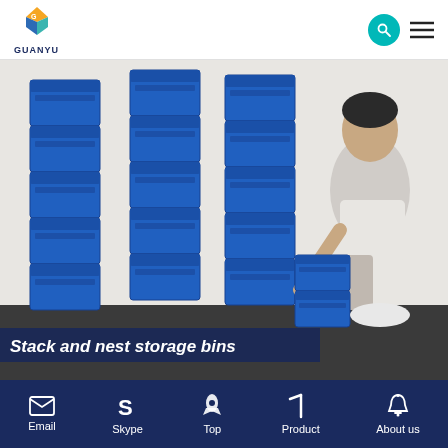GUANYU
[Figure (photo): Stack and nest storage bins product photo showing blue plastic stackable storage bins in multiple columns, with a person stacking bins in the foreground. Text overlay reads 'Stack and nest storage bins'.]
Email  Skype  Top  Product  About us